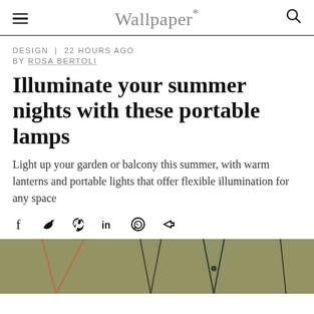Wallpaper*
DESIGN | 22 HOURS AGO
BY ROSA BERTOLI
Illuminate your summer nights with these portable lamps
Light up your garden or balcony this summer, with warm lanterns and portable lights that offer flexible illumination for any space
[Figure (other): Social sharing icons: Facebook, Twitter, Pinterest, LinkedIn, WhatsApp, Share]
[Figure (photo): Partial photo of hanging portable lamps with cords against an olive/khaki background]